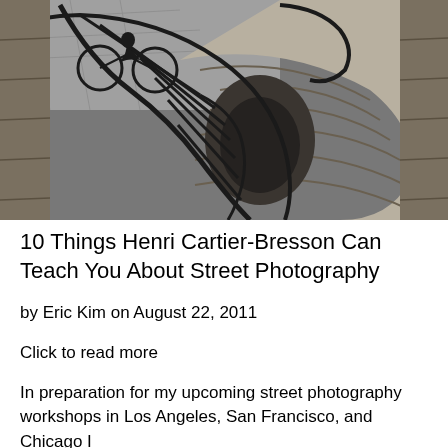[Figure (photo): Black and white aerial photograph looking down a spiral stone staircase with iron railings, with a cyclist visible on the street/path in the upper left background.]
10 Things Henri Cartier-Bresson Can Teach You About Street Photography
by Eric Kim on August 22, 2011
Click to read more
In preparation for my upcoming street photography workshops in Los Angeles, San Francisco, and Chicago I